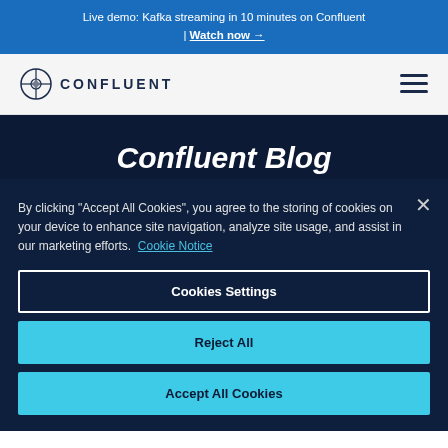Live demo: Kafka streaming in 10 minutes on Confluent | Watch now →
[Figure (logo): Confluent logo with compass icon and text CONFLUENT]
Confluent Blog
By clicking "Accept All Cookies", you agree to the storing of cookies on your device to enhance site navigation, analyze site usage, and assist in our marketing efforts. Cookie Notice
Cookies Settings
Reject All
Accept All Cookies